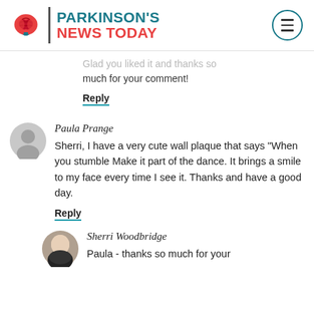Parkinson's News Today
Glad you liked it and thanks so much for your comment!
Reply
Paula Prange
Sherri, I have a very cute wall plaque that says "When you stumble Make it part of the dance. It brings a smile to my face every time I see it. Thanks and have a good day.
Reply
Sherri Woodbridge
Paula - thanks so much for your